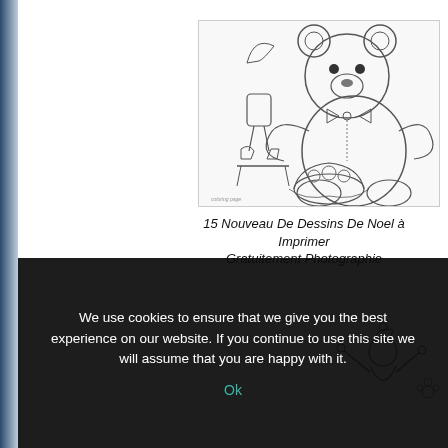[Figure (illustration): Line drawing / coloring page of a teddy bear sitting with a bow tie and a small elf or child figure next to it, with a basket of items in front]
15 Nouveau De Dessins De Noel à Imprimer Gratuitement Photographie
[Figure (illustration): Partially visible line drawing of a small elf or girl figure with arms raised]
We use cookies to ensure that we give you the best experience on our website. If you continue to use this site we will assume that you are happy with it.
Ok